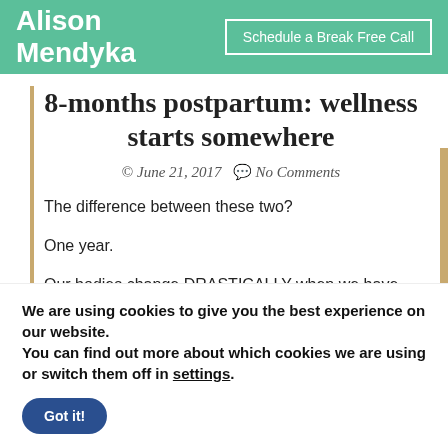Alison Mendyka | Schedule a Break Free Call
8-months postpartum: wellness starts somewhere
© June 21, 2017  💬 No Comments
The difference between these two?
One year.
Our bodies change DRASTICALLY when we have babies (DUH) but I have found that the shift within our MINDS can be even more significant.
We are using cookies to give you the best experience on our website.
You can find out more about which cookies we are using or switch them off in settings.